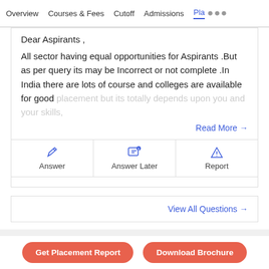Overview   Courses & Fees   Cutoff   Admissions   Pla...
Dear Aspirants ,
All sector having equal opportunities for Aspirants .But as per query its may be Incorrect or not complete .In India there are lots of course and colleges are available for good placement but its totally depends upon you and your skills,
Read More →
Answer   Answer Later   Report
View All Questions →
Have a question related to BVIMSR Navi Mumbai ?
Get Placement Report   Download Brochure